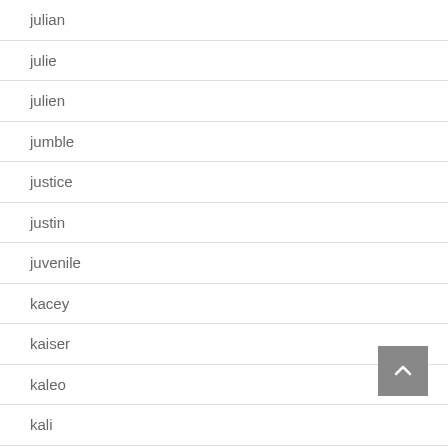julian
julie
julien
jumble
justice
justin
juvenile
kacey
kaiser
kaleo
kali
kanye